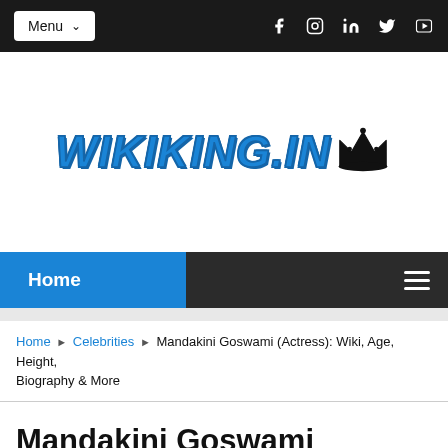Menu | Social icons: Facebook, Instagram, LinkedIn, Twitter, YouTube
[Figure (logo): WIKIKING.IN logo with crown icon in blue bold italic text]
Home ☰
Home ▶ Celebrities ▶ Mandakini Goswami (Actress): Wiki, Age, Height, Biography & More
Mandakini Goswami (Actress): Wiki, Age,